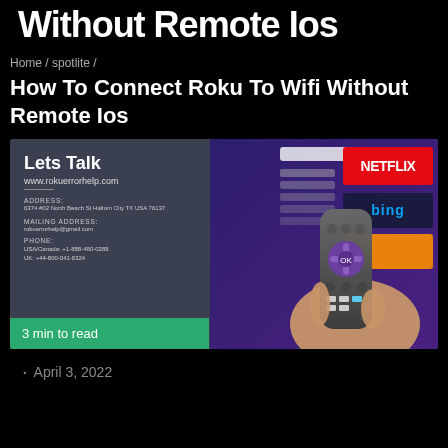Without Remote Ios
Home / spotlite /
How To Connect Roku To Wifi Without Remote Ios
[Figure (photo): Split image: left panel shows Lets Talk contact card on dark background with address, mailing address, phone info, and 3 min to read green bar; right panel shows a hand holding a Roku remote pointed at a TV screen with Netflix and Bing visible]
April 3, 2022